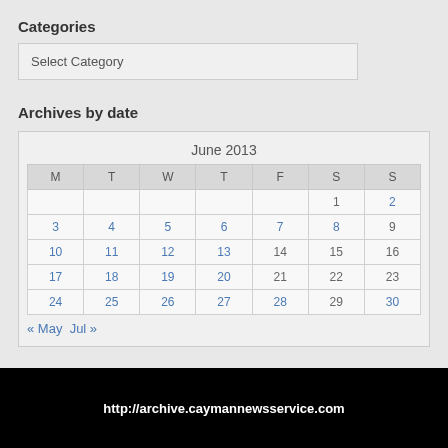Categories
Select Category
Archives by date
| M | T | W | T | F | S | S |
| --- | --- | --- | --- | --- | --- | --- |
|  |  |  |  |  | 1 | 2 |
| 3 | 4 | 5 | 6 | 7 | 8 | 9 |
| 10 | 11 | 12 | 13 | 14 | 15 | 16 |
| 17 | 18 | 19 | 20 | 21 | 22 | 23 |
| 24 | 25 | 26 | 27 | 28 | 29 | 30 |
« May   Jul »
http://archive.caymannewsservice.com